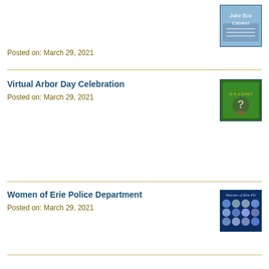Posted on: March 29, 2021
[Figure (photo): Thumbnail image for news item]
Virtual Arbor Day Celebration
Posted on: March 29, 2021
[Figure (photo): Thumbnail with question mark on green background]
Women of Erie Police Department
Posted on: March 29, 2021
[Figure (photo): Thumbnail with group photo collage on blue background]
In Support of Boulder
Posted on: March 23, 2021
Let's Talk About Home Rule
Posted on: March 23, 2021
[Figure (photo): Thumbnail with wooden blocks/coins]
Thank you Sara Wise
Posted on: March 23, 2021
[Figure (photo): Thumbnail with thank you Sara Wise chalkboard text]